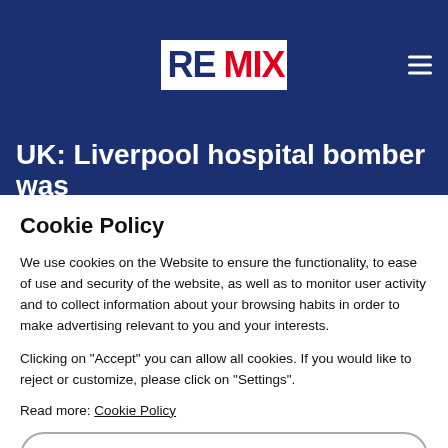REMIX
UK: Liverpool hospital bomber was
Cookie Policy
We use cookies on the Website to ensure the functionality, to ease of use and security of the website, as well as to monitor user activity and to collect information about your browsing habits in order to make advertising relevant to you and your interests.
Clicking on "Accept" you can allow all cookies. If you would like to reject or customize, please click on "Settings".
Read more: Cookie Policy
SETTINGS
ACCEPT